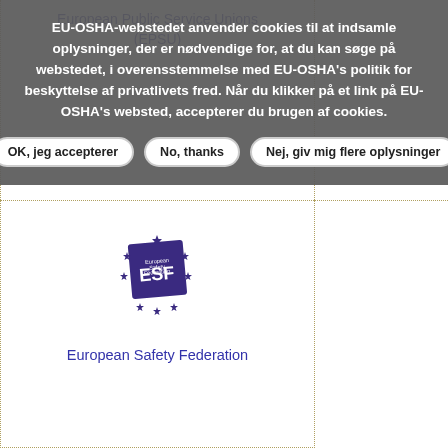EU-OSHA-webstedet anvender cookies til at indsamle oplysninger, der er nødvendige for, at du kan søge på webstedet, i overensstemmelse med EU-OSHA's politik for beskyttelse af privatlivets fred. Når du klikker på et link på EU-OSHA's websted, accepterer du brugen af cookies.
OK, jeg accepterer
No, thanks
Nej, giv mig flere oplysninger
European Public Service Unions (EPSU)
[Figure (logo): ESF (European Safety Federation) logo — a dark blue/purple badge with stars and stylized text]
European Safety Federation